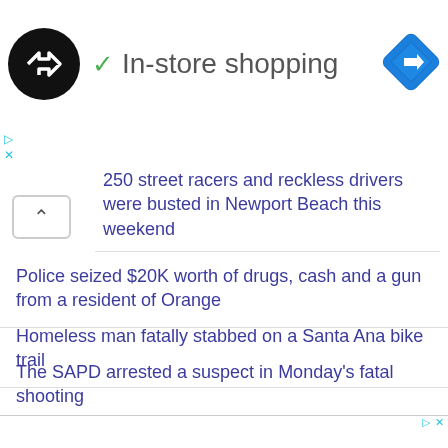[Figure (screenshot): Ad banner with circular logo (black circle with white double-arrow icon), green checkmark, text 'In-store shopping', and blue diamond navigation icon on right]
▷ ×
250 street racers and reckless drivers were busted in Newport Beach this weekend
Police seized $20K worth of drugs, cash and a gun from a resident of Orange
Homeless man fatally stabbed on a Santa Ana bike trail
The SAPD arrested a suspect in Monday's fatal shooting
[Figure (screenshot): Second advertisement banner area, mostly white/blank with small ad controls (play and close icons) in the top right corner]